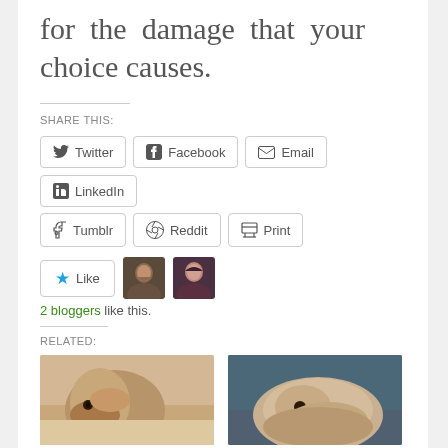for the damage that your choice causes.
SHARE THIS:
[Figure (infographic): Social share buttons: Twitter, Facebook, Email, LinkedIn, Tumblr, Reddit, Print]
[Figure (infographic): Like button with star icon and two blogger avatar photos]
2 bloggers like this.
RELATED:
[Figure (photo): Two related article thumbnail photos of dogs (poodles)]